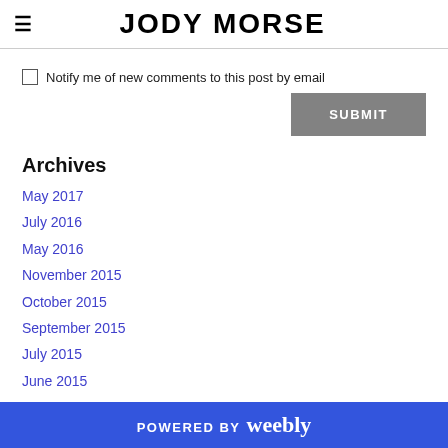JODY MORSE
Notify me of new comments to this post by email
Archives
May 2017
July 2016
May 2016
November 2015
October 2015
September 2015
July 2015
June 2015
May 2015
POWERED BY weebly